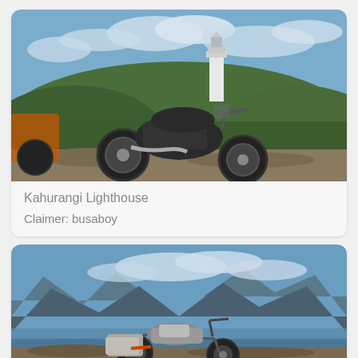[Figure (photo): A KTM adventure/dual-sport motorcycle with orange frame parked on rocky ground in front of green shrubs and a white lighthouse under a partly cloudy blue sky. Another orange motorcycle visible on the left side.]
Kahurangi Lighthouse
Claimer: busaboy
[Figure (photo): A dirt/adventure motorcycle with luggage bags parked near a lake or river, with dramatic mountain ranges and valleys visible in the background under a partly cloudy sky.]